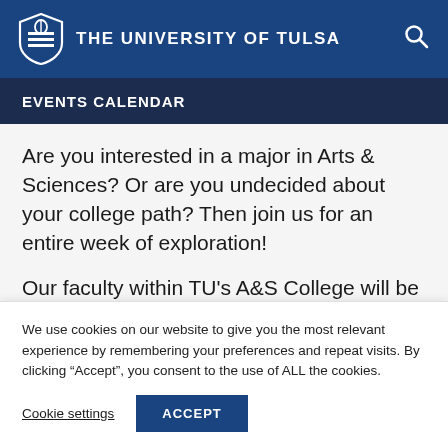THE UNIVERSITY OF TULSA
EVENTS CALENDAR
Are you interested in a major in Arts & Sciences?  Or are you undecided about your college path?  Then join us for an entire week of exploration!
Our faculty within TU's A&S College will be
We use cookies on our website to give you the most relevant experience by remembering your preferences and repeat visits. By clicking “Accept”, you consent to the use of ALL the cookies.
Cookie settings | ACCEPT